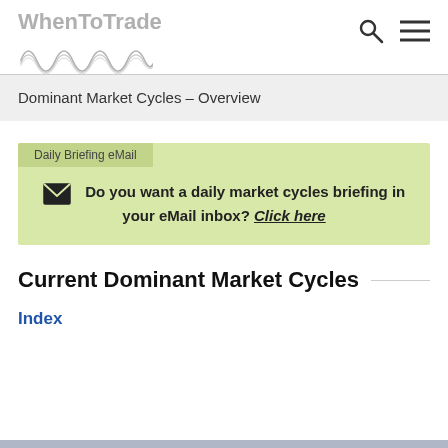WhenToTrade
Dominant Market Cycles – Overview
Daily Briefing eMail
Do you want a daily market cycles briefing in your eMail inbox? Click here
Current Dominant Market Cycles
Index